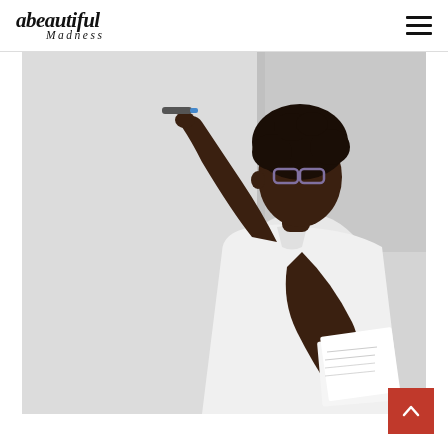abeautiful Madness
[Figure (photo): A Black woman wearing glasses and a white long-sleeve shirt writing on a whiteboard with a marker, holding papers in her other hand. The background is a light gray wall.]